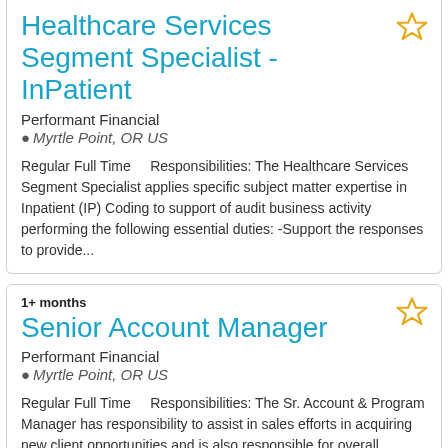Healthcare Services Segment Specialist - InPatient
Performant Financial
Myrtle Point, OR US
Regular Full Time      Responsibilities: The Healthcare Services Segment Specialist applies specific subject matter expertise in Inpatient (IP) Coding to support of audit business activity performing the following essential duties: -Support the responses to provide...
1+ months
Senior Account Manager
Performant Financial
Myrtle Point, OR US
Regular Full Time      Responsibilities: The Sr. Account & Program Manager has responsibility to assist in sales efforts in acquiring new client opportunities and is also responsible for overall management and service delivery of assigned customers and projects...